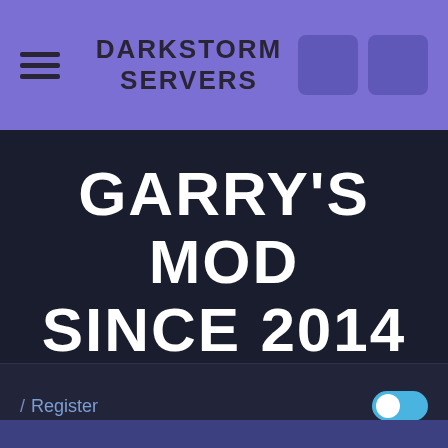DARKSTORM SERVERS
GARRY'S MOD SINCE 2014
WELCOME, GUEST. PLEASE LOGIN OR REGISTER. DID YOU MISS YOUR ACTIVATION EMAIL?
/ Register